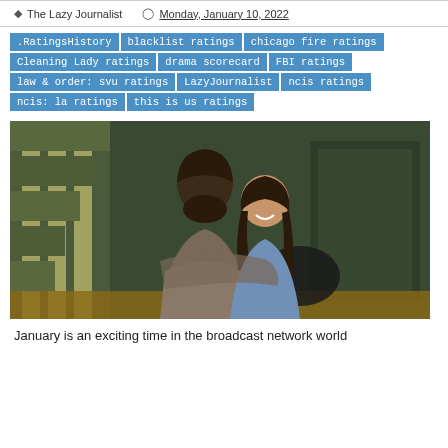The Lazy Journalist   Monday, January 10, 2022
.RatingsHistory
blacklist ratings
chicago fire ratings
Cleaning Lady ratings
drama scorecard
FBI ratings
law & order: svu ratings
LazyJournalist
ncis ratings
ncis: la ratings
this is us ratings
[Figure (photo): A man and woman embracing, sitting together. The man has dark hair and a beard, wearing a plaid shirt. The woman has long dark hair and is smiling, wearing a blue outfit. Background shows green walls and striped stairs.]
January is an exciting time in the broadcast network world